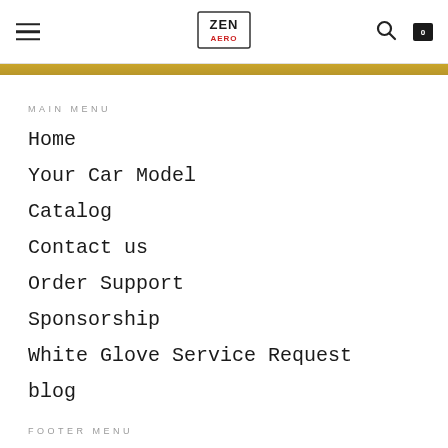ZEN [logo] navigation header with hamburger menu, search and cart icons
MAIN MENU
Home
Your Car Model
Catalog
Contact us
Order Support
Sponsorship
White Glove Service Request
blog
FOOTER MENU